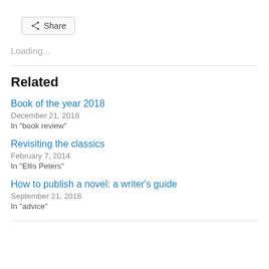Share
Loading...
Related
Book of the year 2018
December 21, 2018
In "book review"
Revisiting the classics
February 7, 2014
In "Ellis Peters"
How to publish a novel: a writer's guide
September 21, 2018
In "advice"